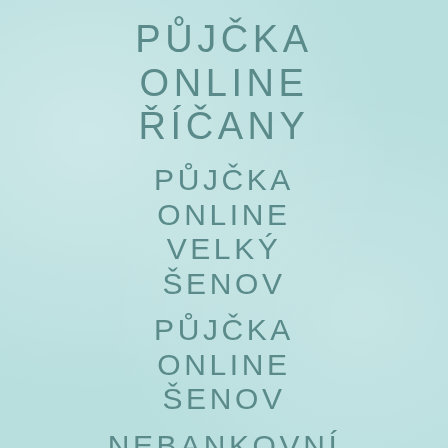PŮJČKA ONLINE ŘÍČANY
PŮJČKA ONLINE VELKÝ ŠENOV
PŮJČKA ONLINE ŠENOV
NEBANKOVNÍ PŮJČKA